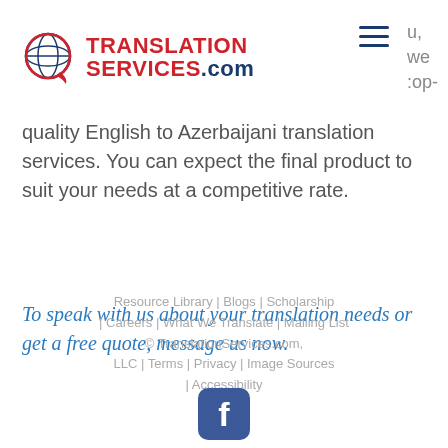[Figure (logo): TranslationServices.com logo with globe icon]
...top-quality English to Azerbaijani translation services. You can expect the final product to suit your needs at a competitive rate.
To speak with us about your translation needs or get a free quote, message us now.
Resource Library | Blogs | Scholarship | Careers | What We Translate | Mailing List © TranslationServices.com, LLC | Terms | Privacy | Image Sources | Accessibility
[Figure (logo): Facebook social media icon button]